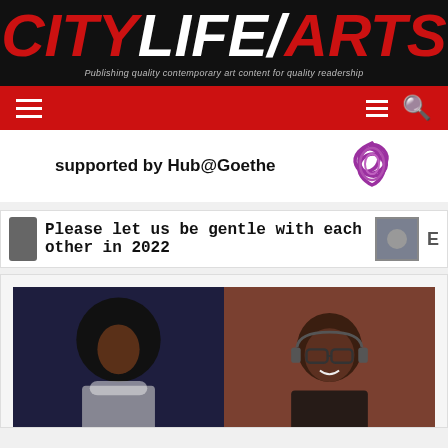CITY LIFE/ARTS
Publishing quality contemporary art content for quality readership
supported by Hub@Goethe
Please let us be gentle with each other in 2022
[Figure (photo): Two portrait photos side by side: a woman with large afro and sparkly outfit on dark background (left), and a smiling man with glasses and headphones on brown background (right)]